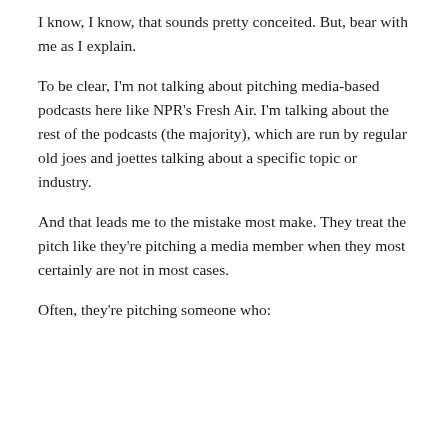I know, I know, that sounds pretty conceited. But, bear with me as I explain.
To be clear, I'm not talking about pitching media-based podcasts here like NPR's Fresh Air. I'm talking about the rest of the podcasts (the majority), which are run by regular old joes and joettes talking about a specific topic or industry.
And that leads me to the mistake most make. They treat the pitch like they're pitching a media member when they most certainly are not in most cases.
Often, they're pitching someone who: